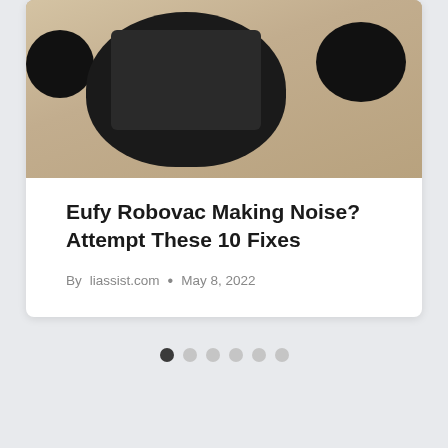[Figure (photo): Disassembled Eufy Robovac robot vacuum showing underside components on a wooden floor background]
Eufy Robovac Making Noise? Attempt These 10 Fixes
By liassist.com • May 8, 2022